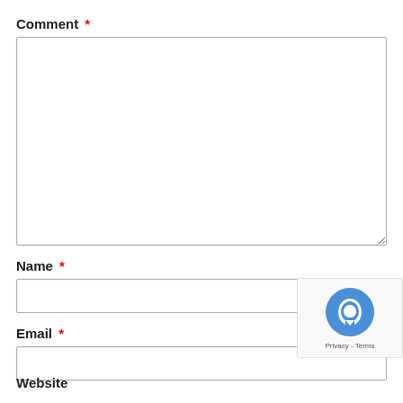Comment *
[Figure (screenshot): Empty textarea input box for comment field]
Name *
[Figure (screenshot): Empty single-line text input box for name field]
Email *
[Figure (screenshot): Empty single-line text input box for email field, with reCAPTCHA badge partially overlapping]
[Figure (screenshot): reCAPTCHA badge showing logo and Privacy - Terms links]
Website